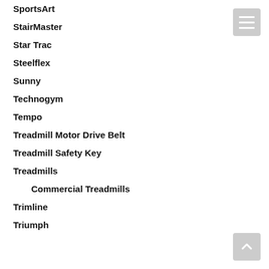SportsArt
StairMaster
Star Trac
Steelflex
Sunny
Technogym
Tempo
Treadmill Motor Drive Belt
Treadmill Safety Key
Treadmills
Commercial Treadmills
Trimline
Triumph